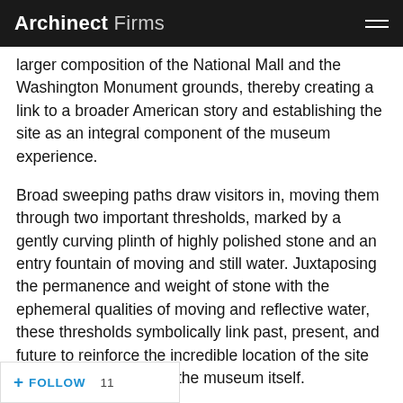Archinect Firms
larger composition of the National Mall and the Washington Monument grounds, thereby creating a link to a broader American story and establishing the site as an integral component of the museum experience.
Broad sweeping paths draw visitors in, moving them through two important thresholds, marked by a gently curving plinth of highly polished stone and an entry fountain of moving and still water. Juxtaposing the permanence and weight of stone with the ephemeral qualities of moving and reflective water, these thresholds symbolically link past, present, and future to reinforce the incredible location of the site as a critical context for the museum itself.
"From a landscape design perspective, what makes this museum unique is that it holds a position of both terminus and [last] museum on the National Mall, and it is also where the National Mall, Washington Monument, and
+ FOLLOW   11